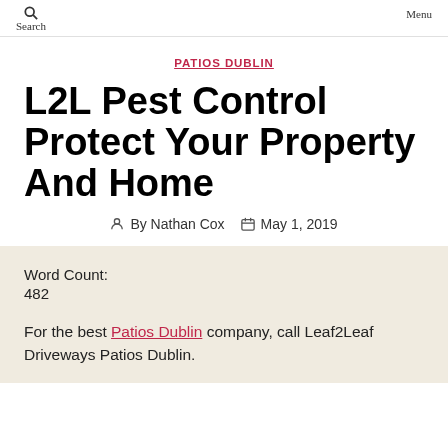Search   Menu
PATIOS DUBLIN
L2L Pest Control Protect Your Property And Home
By Nathan Cox   May 1, 2019
Word Count:
482
For the best Patios Dublin company, call Leaf2Leaf Driveways Patios Dublin.